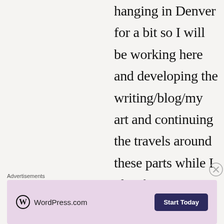hanging in Denver for a bit so I will be working here and developing the writing/blog/my art and continuing the travels around these parts while I plan for some more travels coming up this summer, perhaps over
Advertisements
[Figure (other): WordPress.com advertisement banner with logo and Start Today button]